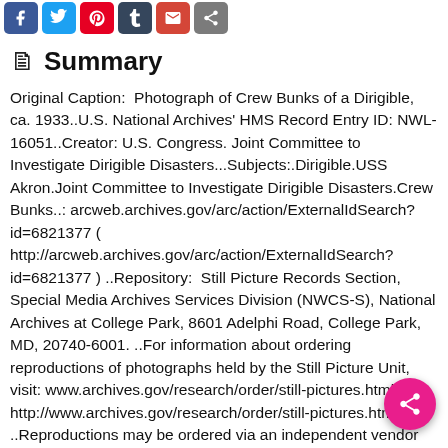[Figure (other): Social media share buttons: Facebook (blue), Twitter (light blue), Pinterest (red), Tumblr (dark blue), Gmail/email (red), Share (grey)]
Summary
Original Caption:  Photograph of Crew Bunks of a Dirigible, ca. 1933..U.S. National Archives' HMS Record Entry ID: NWL-16051..Creator: U.S. Congress. Joint Committee to Investigate Dirigible Disasters...Subjects:.Dirigible.USS Akron.Joint Committee to Investigate Dirigible Disasters.Crew Bunks..: arcweb.archives.gov/arc/action/ExternalIdSearch?id=6821377 ( http://arcweb.archives.gov/arc/action/ExternalIdSearch?id=6821377 ) ..Repository:  Still Picture Records Section, Special Media Archives Services Division (NWCS-S), National Archives at College Park, 8601 Adelphi Road, College Park, MD, 20740-6001. ..For information about ordering reproductions of photographs held by the Still Picture Unit, visit: www.archives.gov/research/order/still-pictures.html ( http://www.archives.gov/research/order/still-pictures.html ) ..Reproductions may be ordered via an independent vendor who maintains a list of vendors at